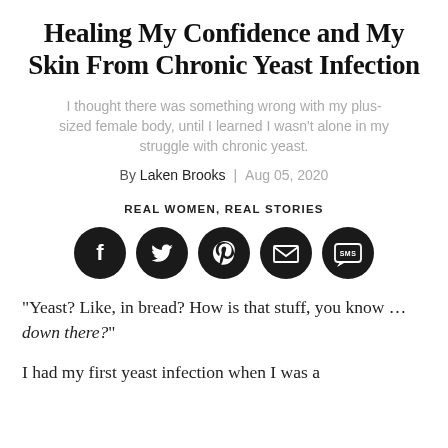Healing My Confidence and My Skin From Chronic Yeast Infection
I thought there was something wrong with my plus-sized female body, until I learned I wasn't alone in my struggle with chronic yeast.
By Laken Brooks | Aug 05, 2020
REAL WOMEN, REAL STORIES
[Figure (infographic): Five circular dark social sharing buttons: Facebook (f), Twitter (bird), Pinterest (P), Email (envelope), SMS (speech bubble with 'SMS')]
"Yeast? Like, in bread? How is that stuff, you know … down there?"
I had my first yeast infection when I was a